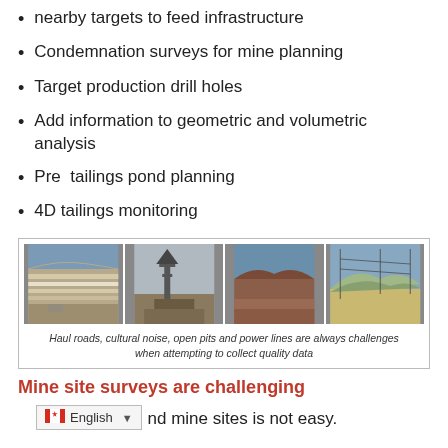nearby targets to feed infrastructure
Condemnation surveys for mine planning
Target production drill holes
Add information to geometric and volumetric analysis
Pre  tailings pond planning
4D tailings monitoring
[Figure (photo): Four photos showing haul roads, open pits, a mining tower, and mountainous terrain with power lines]
Haul roads, cultural noise, open pits and power lines are always challenges when attempting to collect quality data
Mine site surveys are challenging
nd mine sites is not easy.